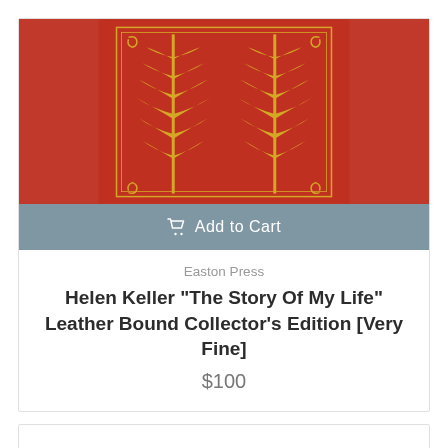[Figure (photo): Red leather bound book with ornate gold decorative spine design featuring tree/plant motifs and scrollwork on a red background]
Add to Cart
Easton Press
Helen Keller "The Story Of My Life" Leather Bound Collector's Edition [Very Fine]
$100